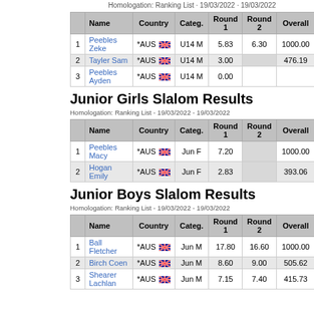Homologation: Ranking List · 19/03/2022 · 19/03/2022
|  | Name | Country | Categ. | Round 1 | Round 2 | Overall |
| --- | --- | --- | --- | --- | --- | --- |
| 1 | Peebles Zeke | *AUS | U14 M | 5.83 | 6.30 | 1000.00 |
| 2 | Tayler Sam | *AUS | U14 M | 3.00 |  | 476.19 |
| 3 | Peebles Ayden | *AUS | U14 M | 0.00 |  |  |
Junior Girls Slalom Results
Homologation: Ranking List - 19/03/2022 - 19/03/2022
|  | Name | Country | Categ. | Round 1 | Round 2 | Overall |
| --- | --- | --- | --- | --- | --- | --- |
| 1 | Peebles Macy | *AUS | Jun F | 7.20 |  | 1000.00 |
| 2 | Hogan Emily | *AUS | Jun F | 2.83 |  | 393.06 |
Junior Boys Slalom Results
Homologation: Ranking List - 19/03/2022 - 19/03/2022
|  | Name | Country | Categ. | Round 1 | Round 2 | Overall |
| --- | --- | --- | --- | --- | --- | --- |
| 1 | Ball Fletcher | *AUS | Jun M | 17.80 | 16.60 | 1000.00 |
| 2 | Birch Coen | *AUS | Jun M | 8.60 | 9.00 | 505.62 |
| 3 | Shearer Lachlan | *AUS | Jun M | 7.15 | 7.40 | 415.73 |